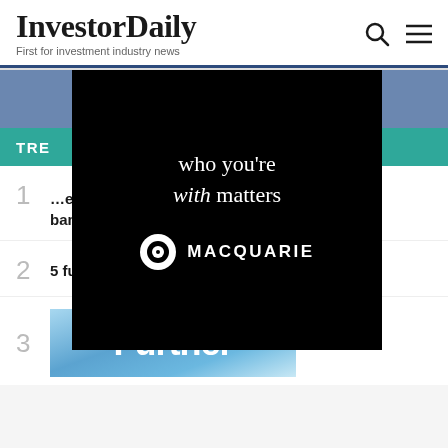InvestorDaily — First for investment industry news
[Figure (advertisement): Macquarie advertisement overlay on black background with text 'who you're with matters' and Macquarie logo]
TRENDING
1  ...ear ban
2  5 funds fail APRA's performance test
3  Further [image]